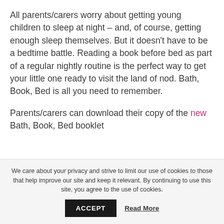All parents/carers worry about getting young children to sleep at night – and, of course, getting enough sleep themselves. But it doesn't have to be a bedtime battle. Reading a book before bed as part of a regular nightly routine is the perfect way to get your little one ready to visit the land of nod. Bath, Book, Bed is all you need to remember.
Parents/carers can download their copy of the new Bath, Book, Bed booklet
We care about your privacy and strive to limit our use of cookies to those that help improve our site and keep it relevant. By continuing to use this site, you agree to the use of cookies.